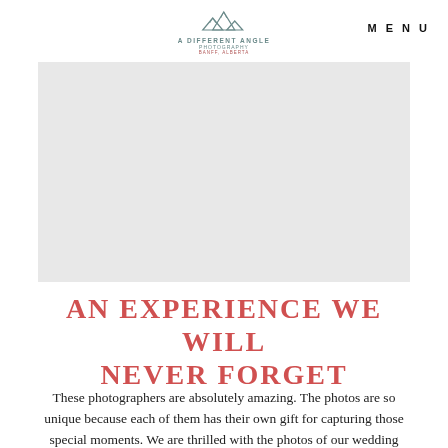[Figure (logo): A Different Angle Photography logo with mountain peaks icon and text 'A DIFFERENT ANGLE PHOTOGRAPHY, BANFF, ALBERTA']
MENU
[Figure (photo): Large image placeholder area (gray background, representing a wedding photo)]
AN EXPERIENCE WE WILL NEVER FORGET
These photographers are absolutely amazing. The photos are so unique because each of them has their own gift for capturing those special moments. We are thrilled with the photos of our wedding day!